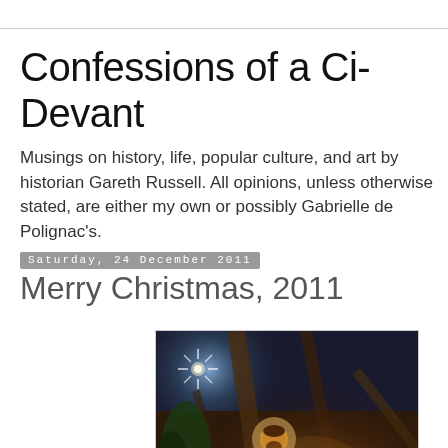Confessions of a Ci-Devant
Musings on history, life, popular culture, and art by historian Gareth Russell. All opinions, unless otherwise stated, are either my own or possibly Gabrielle de Polignac's.
Saturday, 24 December 2011
Merry Christmas, 2011
[Figure (photo): A nativity scene painting showing the Holy Family - Mary in a white head covering holding the infant Jesus with a halo, with Saint Joseph and other figures gathered around in a dimly lit stable setting. A star is visible in the background.]